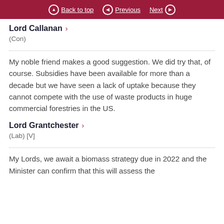Back to top  Previous  Next
Lord Callanan >
(Con)
My noble friend makes a good suggestion. We did try that, of course. Subsidies have been available for more than a decade but we have seen a lack of uptake because they cannot compete with the use of waste products in huge commercial forestries in the US.
Lord Grantchester >
(Lab) [V]
My Lords, we await a biomass strategy due in 2022 and the Minister can confirm that this will assess the